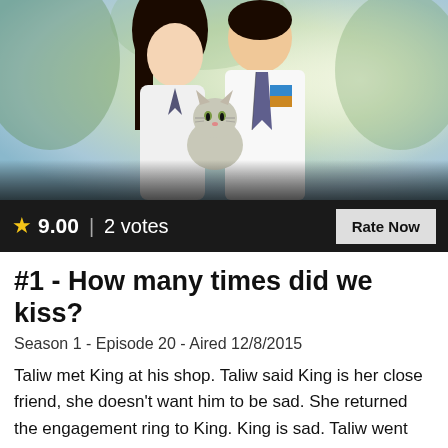[Figure (photo): Two young Asian students in school uniforms (white shirts with ties) posed together, with a cat held between them. Soft bokeh outdoor background with green and golden tones.]
★ 9.00 | 2 votes
#1 - How many times did we kiss?
Season 1 - Episode 20 - Aired 12/8/2015
Taliw met King at his shop. Taliw said King is her close friend, she doesn't want him to be sad. She returned the engagement ring to King. King is sad. Taliw went out from the shop and meet Tenten. He confessed his love to Taliw and requested a chance from her. But Taliw refused